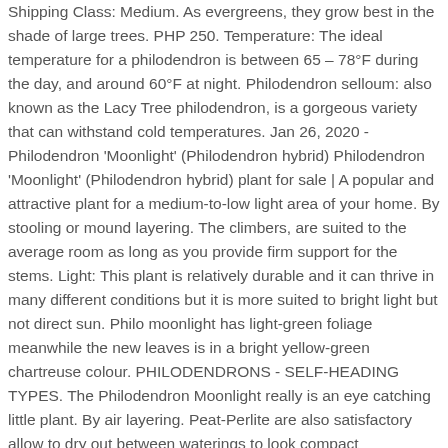Shipping Class: Medium. As evergreens, they grow best in the shade of large trees. PHP 250. Temperature: The ideal temperature for a philodendron is between 65 – 78°F during the day, and around 60°F at night. Philodendron selloum: also known as the Lacy Tree philodendron, is a gorgeous variety that can withstand cold temperatures. Jan 26, 2020 - Philodendron 'Moonlight' (Philodendron hybrid) Philodendron 'Moonlight' (Philodendron hybrid) plant for sale | A popular and attractive plant for a medium-to-low light area of your home. By stooling or mound layering. The climbers, are suited to the average room as long as you provide firm support for the stems. Light: This plant is relatively durable and it can thrive in many different conditions but it is more suited to bright light but not direct sun. Philo moonlight has light-green foliage meanwhile the new leaves is in a bright yellow-green chartreuse colour. PHILODENDRONS - SELF-HEADING TYPES. The Philodendron Moonlight really is an eye catching little plant. By air layering. Peat-Perlite are also satisfactory allow to dry out between waterings to look compact